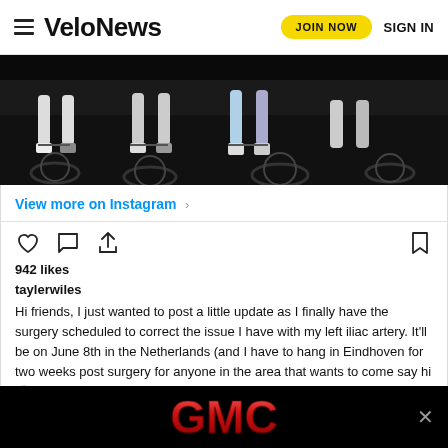VeloNews | JOIN NOW | SIGN IN
[Figure (photo): Close-up photo of cyclists' legs and bicycle wheels during a race, dark background]
View more on Instagram
942 likes
taylerwiles
Hi friends, I just wanted to post a little update as I finally have the surgery scheduled to correct the issue I have with my left iliac artery. It'll be on June 8th in the Netherlands (and I have to hang in Eindhoven for two weeks post surgery for anyone in the area that wants to come say hi 🌷). I've been working with an incredible physio (shout out @katstene) pre-surgery to try a... develop... Lots of...
[Figure (logo): GMC logo advertisement banner on black background]